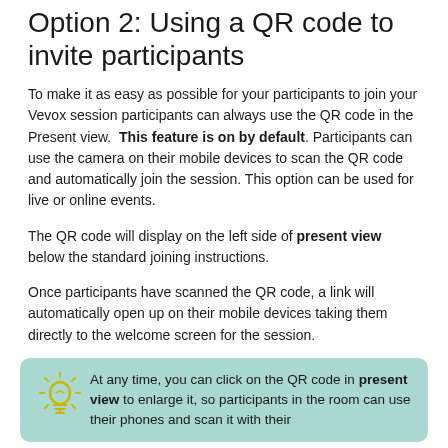Option 2: Using a QR code to invite participants
To make it as easy as possible for your participants to join your Vevox session participants can always use the QR code in the Present view.  This feature is on by default. Participants can use the camera on their mobile devices to scan the QR code and automatically join the session. This option can be used for live or online events.
The QR code will display on the left side of present view below the standard joining instructions.
Once participants have scanned the QR code, a link will automatically open up on their mobile devices taking them directly to the welcome screen for the session.
At any time, you can click on the QR code in present view to enlarge it, so participants in the room can use their phones and scan it with their